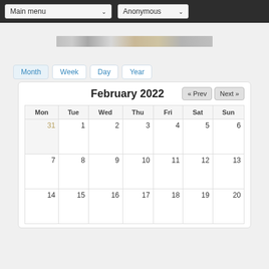[Figure (screenshot): Web application navigation bar with 'Main menu' dropdown and 'Anonymous' dropdown on dark background]
[Figure (photo): Partial banner/header image strip visible at top of page content area]
Month  Week  Day  Year
| Mon | Tue | Wed | Thu | Fri | Sat | Sun |
| --- | --- | --- | --- | --- | --- | --- |
| 31 | 1 | 2 | 3 | 4 | 5 | 6 |
| 7 | 8 | 9 | 10 | 11 | 12 | 13 |
| 14 | 15 | 16 | 17 | 18 | 19 | 20 |